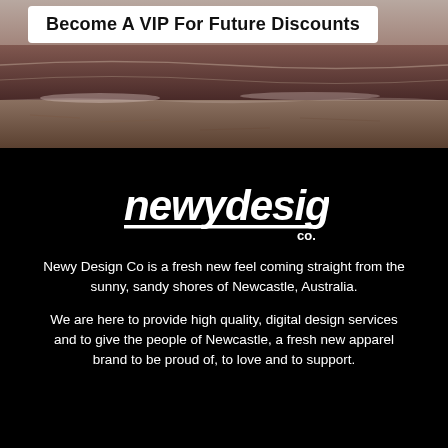[Figure (photo): Beach scene with sandy shores and ocean water, dark brownish tones, partial white card overlaid at top-left]
Become A VIP For Future Discounts
[Figure (logo): newydesign co. logo in white italic lettering with underline, on black background]
Newy Design Co is a fresh new feel coming straight from the sunny, sandy shores of Newcastle, Australia.
We are here to provide high quality, digital design services and to give the people of Newcastle, a fresh new apparel brand to be proud of, to love and to support.